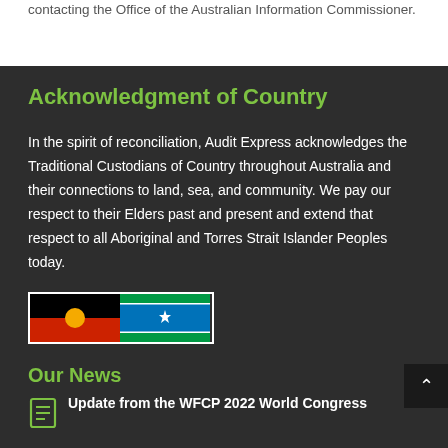contacting the Office of the Australian Information Commissioner.
Acknowledgment of Country
In the spirit of reconciliation, Audit Express acknowledges the Traditional Custodians of Country throughout Australia and their connections to land, sea, and community. We pay our respect to their Elders past and present and extend that respect to all Aboriginal and Torres Strait Islander Peoples today.
[Figure (illustration): Two flags side by side: the Australian Aboriginal Flag (black top half, red bottom half, yellow circle in center) and the Torres Strait Islander Flag (green top and bottom stripes, blue center with white dhari/star and two green borders).]
Our News
Update from the WFCP 2022 World Congress